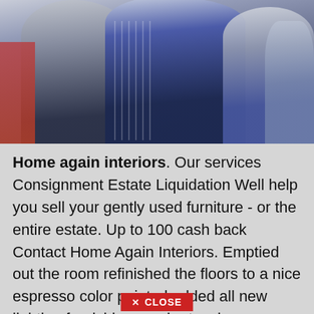[Figure (photo): A photograph showing people in formal/semi-formal attire, cropped so only the upper portion is visible. Figures appear to be wearing dark suits and striped shirts.]
Home again interiors. Our services Consignment Estate Liquidation Well help you sell your gently used furniture - or the entire estate. Up to 100 cash back Contact Home Again Interiors. Emptied out the room refinished the floors to a nice espresso color painted added all new lighting furnishings and artwork.
NEW STOCK ARRIVING DAILY. Free shipping on many items Browse your favorite brands affordable prices. Get reviews hours directions coupons and more for Home Again Interiors at 2101 Starkey Rd Largo FL 33771. This list will help you pick the right pro Home Security
[Figure (other): A red close button with an X and the text CLOSE]